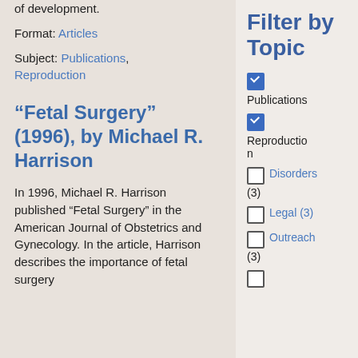of development.
Format: Articles
Subject: Publications, Reproduction
“Fetal Surgery” (1996), by Michael R. Harrison
In 1996, Michael R. Harrison published “Fetal Surgery” in the American Journal of Obstetrics and Gynecology. In the article, Harrison describes the importance of fetal surgery
Filter by Topic
Publications (checked)
Reproduction (checked)
Disorders (3)
Legal (3)
Outreach (3)